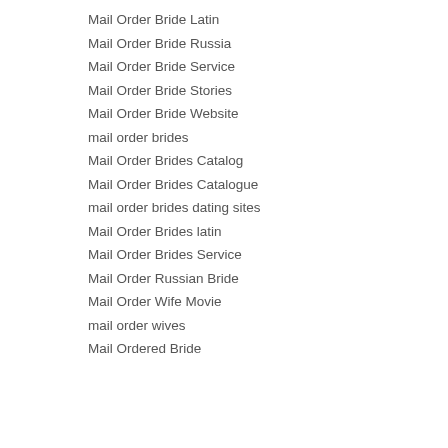Mail Order Bride Latin
Mail Order Bride Russia
Mail Order Bride Service
Mail Order Bride Stories
Mail Order Bride Website
mail order brides
Mail Order Brides Catalog
Mail Order Brides Catalogue
mail order brides dating sites
Mail Order Brides latin
Mail Order Brides Service
Mail Order Russian Bride
Mail Order Wife Movie
mail order wives
Mail Ordered Bride